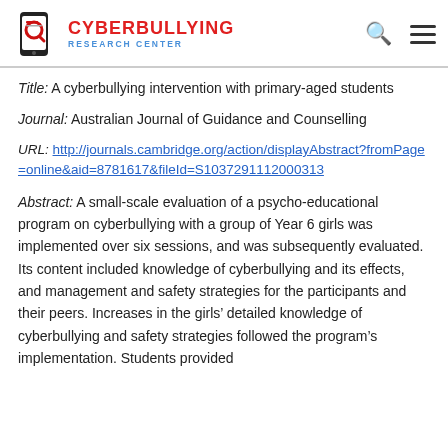Cyberbullying Research Center
Title: A cyberbullying intervention with primary-aged students
Journal: Australian Journal of Guidance and Counselling
URL: http://journals.cambridge.org/action/displayAbstract?fromPage=online&aid=8781617&fileId=S1037291112000313
Abstract: A small-scale evaluation of a psycho-educational program on cyberbullying with a group of Year 6 girls was implemented over six sessions, and was subsequently evaluated. Its content included knowledge of cyberbullying and its effects, and management and safety strategies for the participants and their peers. Increases in the girls’ detailed knowledge of cyberbullying and safety strategies followed the program’s implementation. Students provided